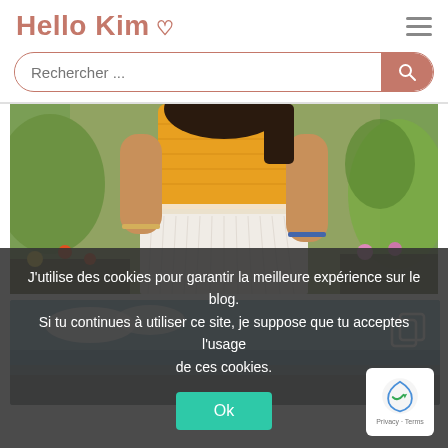Hello Kim ♡
Rechercher ...
[Figure (photo): Woman wearing a yellow smocked top and white pleated skirt standing in front of green plants and flowers]
[Figure (photo): Partially visible photo below, showing sky and ground, with a copy/duplicate icon in the top right corner]
J'utilise des cookies pour garantir la meilleure expérience sur le blog. Si tu continues à utiliser ce site, je suppose que tu acceptes l'usage de ces cookies.
Ok